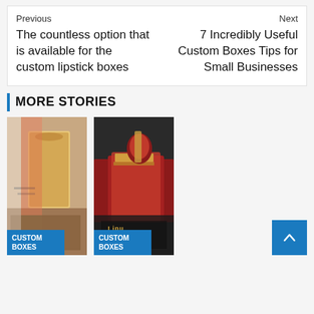Previous
The countless option that is available for the custom lipstick boxes
Next
7 Incredibly Useful Custom Boxes Tips for Small Businesses
MORE STORIES
[Figure (photo): Person holding a cardboard box, wearing red jacket, with custom boxes label overlay]
[Figure (photo): Lipstick products in red packaging on dark background with custom boxes label overlay]